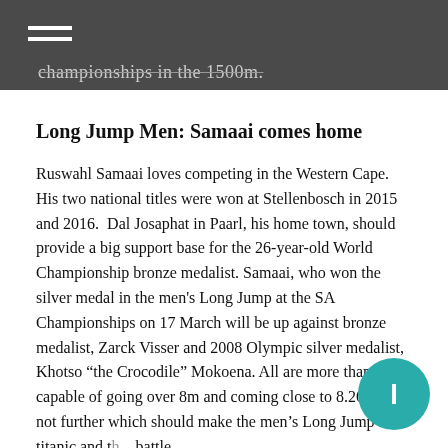championships in the 1500m.
Long Jump Men: Samaai comes home
Ruswahl Samaai loves competing in the Western Cape. His two national titles were won at Stellenbosch in 2015 and 2016.  Dal Josaphat in Paarl, his home town, should provide a big support base for the 26-year-old World Championship bronze medalist. Samaai, who won the silver medal in the men's Long Jump at the SA Championships on 17 March will be up against bronze medalist, Zarck Visser and 2008 Olympic silver medalist, Khotso “the Crocodile” Mokoena. All are more than capable of going over 8m and coming close to 8.20m if not further which should make the men’s Long Jump a titanic and t... battle.
100m Men:  SA Championships revisited